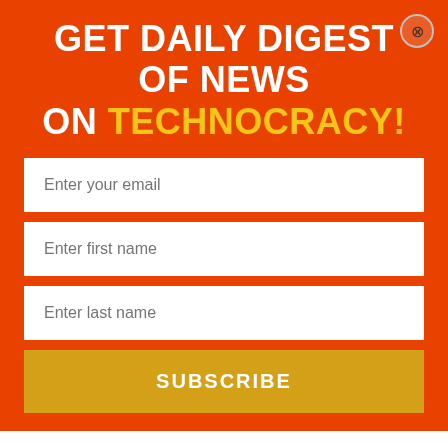GET DAILY DIGEST OF NEWS ON TECHNOCRACY!
[Figure (screenshot): Email subscription form with fields for email, first name, last name, and a Subscribe button on an orange background]
including, but not limited to, establishing regulations governing conduct related to the cause of the public health emergency, and Section 5 ( q), authorizing the City Manager to issue any and all other orders or undertake such other functions and activities as the City Manager